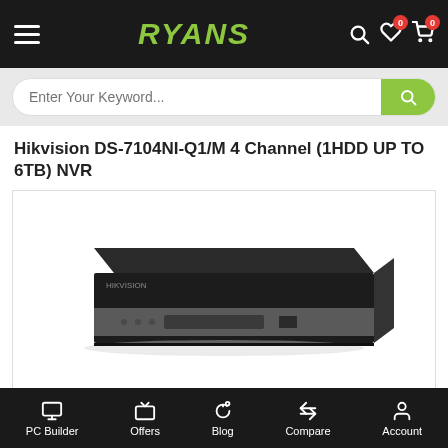RYANS
Enter Your Keyword...
Hikvision DS-7104NI-Q1/M 4 Channel (1HDD UP TO 6TB) NVR
[Figure (photo): Hikvision DS-7104NI-Q1/M 4 Channel NVR device, a flat black rack-mountable network video recorder with a silver front panel strip containing LED indicators and USB port.]
PC Builder | Offers | Blog | Compare | Account